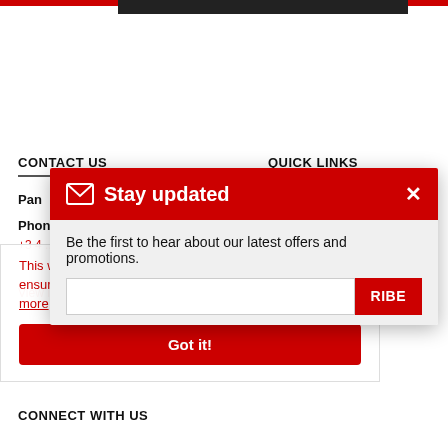CONTACT US
QUICK LINKS
Pan
Phone
This website uses cookies and Google Analytics tracking to ensure you get the best experience on our website. Learn more
Got it!
View in Google Maps   Sitemap
[Figure (screenshot): Stay updated modal popup with red header, envelope icon, close button X, subtitle 'Be the first to hear about our latest offers and promotions.', email input field, and SUBSCRIBE button]
CONNECT WITH US